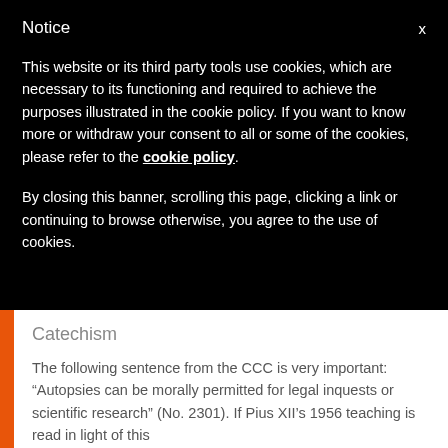Notice
This website or its third party tools use cookies, which are necessary to its functioning and required to achieve the purposes illustrated in the cookie policy. If you want to know more or withdraw your consent to all or some of the cookies, please refer to the cookie policy.
By closing this banner, scrolling this page, clicking a link or continuing to browse otherwise, you agree to the use of cookies.
Catechism
The following sentence from the CCC is very important: “Autopsies can be morally permitted for legal inquests or scientific research” (No. 2301). If Pius XII’s 1956 teaching is read in light of this